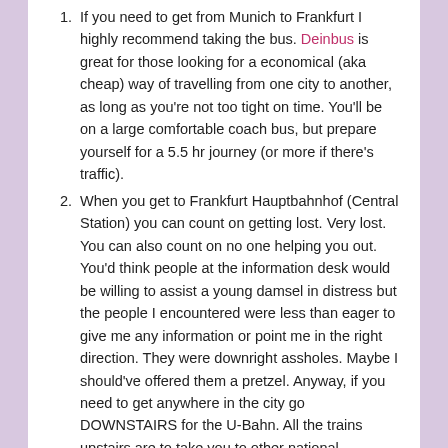If you need to get from Munich to Frankfurt I highly recommend taking the bus. Deinbus is great for those looking for a economical (aka cheap) way of travelling from one city to another, as long as you're not too tight on time. You'll be on a large comfortable coach bus, but prepare yourself for a 5.5 hr journey (or more if there's traffic).
When you get to Frankfurt Hauptbahnhof (Central Station) you can count on getting lost. Very lost. You can also count on no one helping you out. You'd think people at the information desk would be willing to assist a young damsel in distress but the people I encountered were less than eager to give me any information or point me in the right direction. They were downright assholes. Maybe I should've offered them a pretzel. Anyway, if you need to get anywhere in the city go DOWNSTAIRS for the U-Bahn. All the trains upstairs are to take you to other national destinations and it's downstairs you need to go to for the local metro. I bought a ticket but anyone can get on the train and ticket checkers are far and few … just sayin.